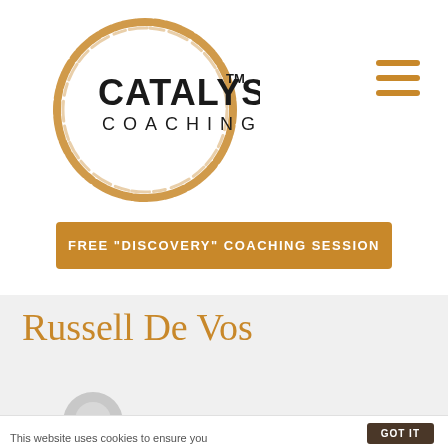[Figure (logo): Catalyst Coaching logo: circular brushstroke ring in golden/amber color with 'CATALYST' in bold dark text and 'COACHING' in spaced lighter text below, with TM superscript]
[Figure (other): Hamburger menu icon: three horizontal amber/golden lines stacked vertically]
FREE "DISCOVERY" COACHING SESSION
Russell De Vos
[Figure (illustration): Default user avatar silhouette in gray]
This website uses cookies to ensure you
GOT IT